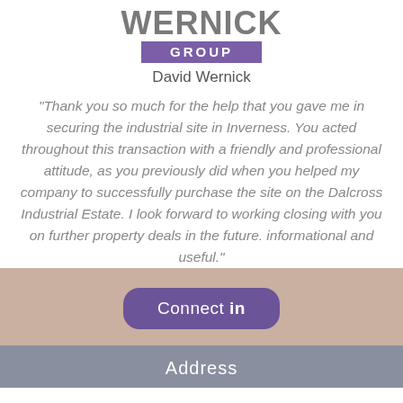[Figure (logo): Wernick Group logo - text 'Wernick' in gray uppercase with 'GROUP' in white text on purple bar below]
David Wernick
"Thank you so much for the help that you gave me in securing the industrial site in Inverness. You acted throughout this transaction with a friendly and professional attitude, as you previously did when you helped my company to successfully purchase the site on the Dalcross Industrial Estate. I look forward to working closing with you on further property deals in the future. informational and useful."
Connect in
Address